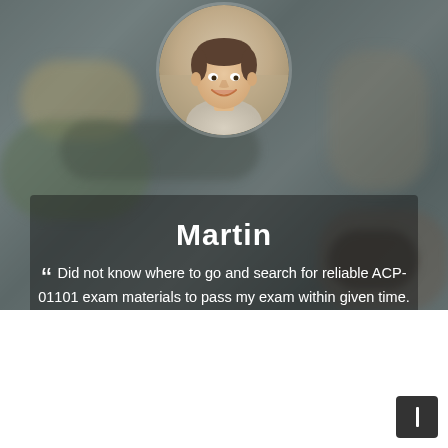[Figure (photo): Circular portrait photo of a smiling young man named Martin, set against a blurred office/workspace background]
Martin
“ Did not know where to go and search for reliable ACP-01101 exam materials to pass my exam within given time. One of my colleagues suggested me of pdfdumps to make up my deficiencies of ACP-01101 exam preparations. ”